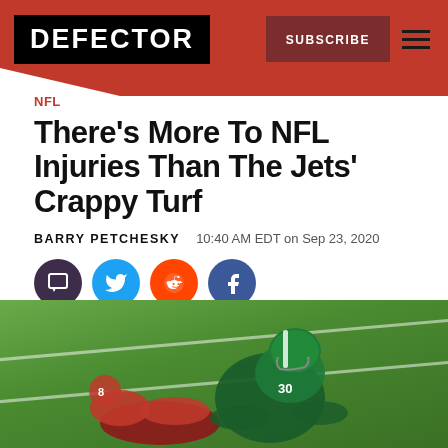DEFECTOR | SUBSCRIBE
NFL
There’s More To NFL Injuries Than The Jets’ Crappy Turf
BARRY PETCHESKY   10:40 AM EDT on Sep 23, 2020
125
[Figure (photo): Football players tackling on a green turf field; one player wearing a green Jets helmet numbered 30, the other in a red 49ers uniform]